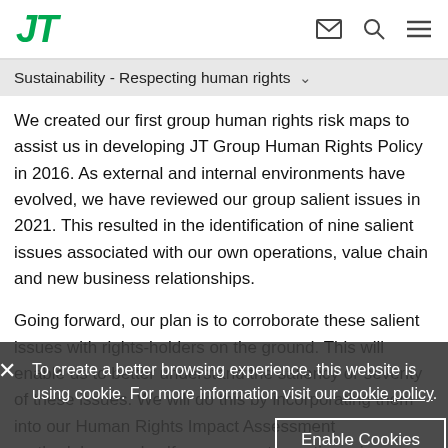JT [logo] [mail icon] [search icon] [menu icon]
Sustainability - Respecting human rights
We created our first group human rights risk maps to assist us in developing JT Group Human Rights Policy in 2016. As external and internal environments have evolved, we have reviewed our group salient issues in 2021. This resulted in the identification of nine salient issues associated with our own operations, value chain and new business relationships.
Going forward, our plan is to corroborate these salient issues with rights-holders on the ground. This will enable us to better understand the saliency or severity of these issues. We will do this by incorporating them into our Human Rights Impact Assessment methodology and self-assessment questionnaires.
To create a better browsing experience, this website is using cookie. For more information visit our cookie policy. [Enable Cookies button]